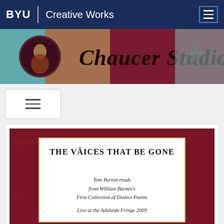BYU | Creative Works
[Figure (illustration): Chaucer Studio banner with medieval-style illustration of a figure and decorative text 'Chaucer Studio' on a mixed teal, gold and crimson background]
[Figure (illustration): Hamburger menu icon button with three horizontal lines inside a bordered box]
[Figure (illustration): Book cover image for 'The Vâices That Be Gone' — a crimson decorative border framing a white inner page with the title, subtitle, and event information]
THE VÂICES THAT BE GONE
Tom Burton reads from William Barnes's First Collection of Dialect Poems
Live at the Adelaide Fringe 2009